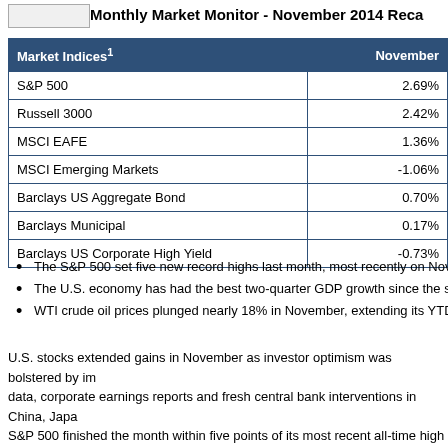[Figure (logo): Logo/button box top left]
Monthly Market Monitor - November 2014 Recap
| Market Indices¹ | November |
| --- | --- |
| S&P 500 | 2.69% |
| Russell 3000 | 2.42% |
| MSCI EAFE | 1.36% |
| MSCI Emerging Markets | -1.06% |
| Barclays US Aggregate Bond | 0.70% |
| Barclays Municipal | 0.17% |
| Barclays US Corporate High Yield | -0.73% |
The S&P 500 set five new record highs last month, most recently on Novem...
The U.S. economy has had the best two-quarter GDP growth since the seco...
WTI crude oil prices plunged nearly 18% in November, extending its YTD...
U.S. stocks extended gains in November as investor optimism was bolstered by imp... data, corporate earnings reports and fresh central bank interventions in China, Japa... S&P 500 finished the month within five points of its most recent all-time high and ... from a six-month low on October 15th. Key performance catalysts during the mont...